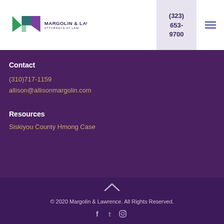[Figure (logo): Margolin & Lawrence Attorneys at Law logo with green and purple M-shape icon]
(323) 653-9700
Contact
(310)717-1159
allison@allisonmargolin.com
Resources
Siskiyou County Hmong Case
© 2020 Margolin & Lawrence. All Rights Reserved.